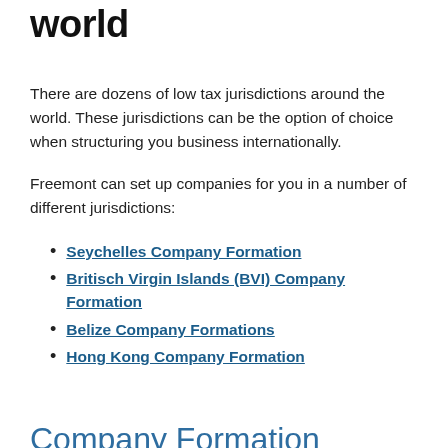world
There are dozens of low tax jurisdictions around the world. These jurisdictions can be the option of choice when structuring you business internationally.
Freemont can set up companies for you in a number of different jurisdictions:
Seychelles Company Formation
Britisch Virgin Islands (BVI) Company Formation
Belize Company Formations
Hong Kong Company Formation
Company Formation Seychelles
The Seychelles are an Independent Republic within the Commonwealth, with a population of 82,000. The Seychelles comprise a group of some 115 islands in the Indian Ocean. The country has good political stability with a democratically elected